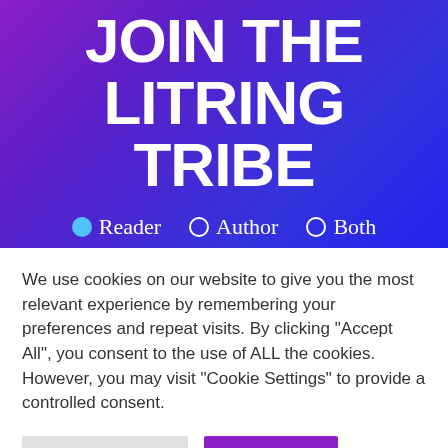JOIN THE LITRING TRIBE
● Reader  ● Author  ● Both
We use cookies on our website to give you the most relevant experience by remembering your preferences and repeat visits. By clicking "Accept All", you consent to the use of ALL the cookies. However, you may visit "Cookie Settings" to provide a controlled consent.
Cookie Settings  Accept All